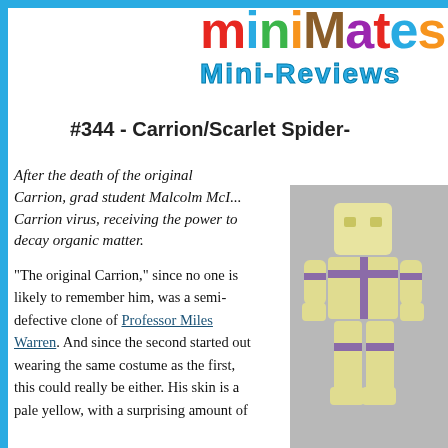[Figure (logo): miniMates logo with colorful letters and 'MINI-REVIEWS' subtitle in teal/blue]
#344 - Carrion/Scarlet Spider-Man
After the death of the original Carrion, grad student Malcolm McI... Carrion virus, receiving the power to decay organic matter.
"The original Carrion," since no one is likely to remember him, was a semi-defective clone of Professor Miles Warren. And since the second started out wearing the same costume as the first, this could really be either. His skin is a pale yellow, with a surprising amount of
[Figure (photo): Photo of a Minimate toy figure with pale yellow body and purple accessories/straps]